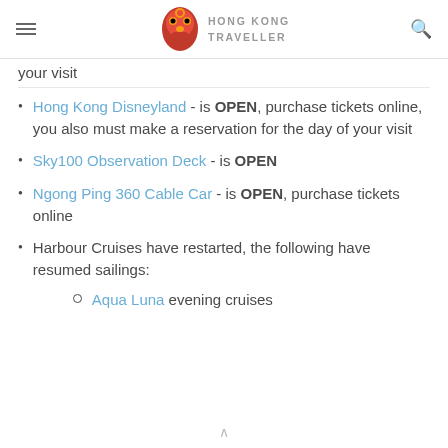HONG KONG TRAVELLER
your visit
Hong Kong Disneyland - is OPEN, purchase tickets online, you also must make a reservation for the day of your visit
Sky100 Observation Deck - is OPEN
Ngong Ping 360 Cable Car - is OPEN, purchase tickets online
Harbour Cruises have restarted, the following have resumed sailings:
Aqua Luna evening cruises